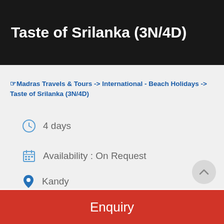Taste of Srilanka (3N/4D)
☞ Madras Travels & Tours -> International - Beach Holidays -> Taste of Srilanka (3N/4D)
4 days
Availability : On Request
Kandy
Colombo
Enquiry